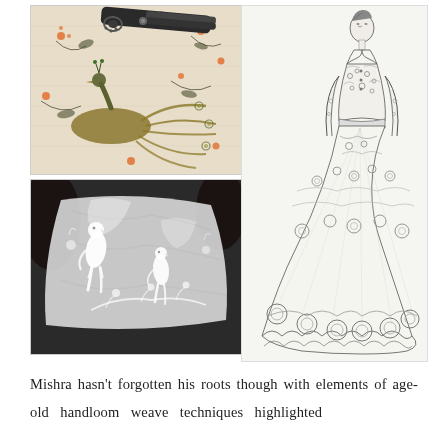[Figure (photo): Photo of scissors/thread cutter resting on embroidered fabric with peacock and floral motifs in orange and black on cream background]
[Figure (photo): Black and white photo of hands holding sheer embroidered fabric with parrot and floral motifs in white chikankari style]
[Figure (illustration): Fashion illustration sketch in black and white of a female model wearing an ornate floral embroidered jacket and full-length flared skirt/lehenga]
Mishra hasn't forgotten his roots though with elements of age-old handloom weave techniques highlighted